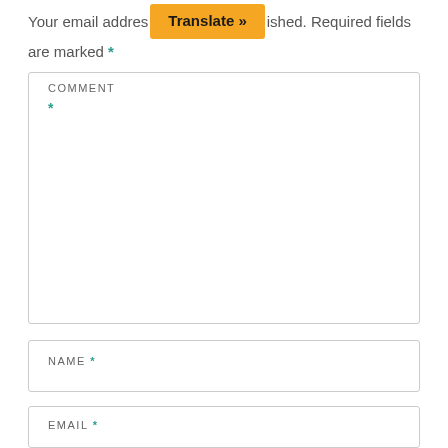Your email address will not be published. Required fields are marked *
[Figure (screenshot): Orange 'Translate »' button overlaying text]
COMMENT *
NAME *
EMAIL *